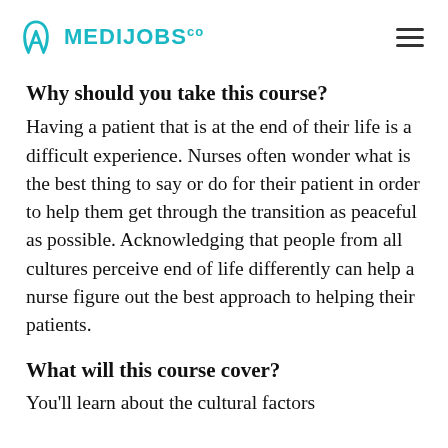MEDIJOBS.co
Why should you take this course?
Having a patient that is at the end of their life is a difficult experience. Nurses often wonder what is the best thing to say or do for their patient in order to help them get through the transition as peaceful as possible. Acknowledging that people from all cultures perceive end of life differently can help a nurse figure out the best approach to helping their patients.
What will this course cover?
You'll learn about the cultural factors associated with end of life and the...